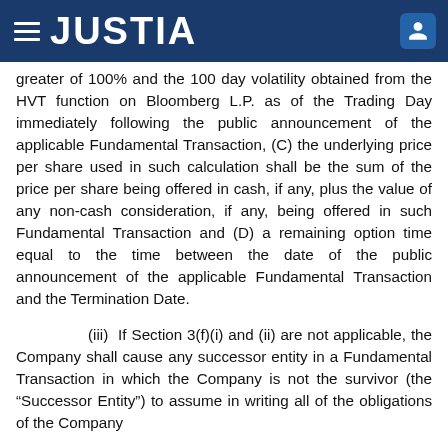JUSTIA
greater of 100% and the 100 day volatility obtained from the HVT function on Bloomberg L.P. as of the Trading Day immediately following the public announcement of the applicable Fundamental Transaction, (C) the underlying price per share used in such calculation shall be the sum of the price per share being offered in cash, if any, plus the value of any non-cash consideration, if any, being offered in such Fundamental Transaction and (D) a remaining option time equal to the time between the date of the public announcement of the applicable Fundamental Transaction and the Termination Date.
(iii) If Section 3(f)(i) and (ii) are not applicable, the Company shall cause any successor entity in a Fundamental Transaction in which the Company is not the survivor (the “Successor Entity”) to assume in writing all of the obligations of the Company